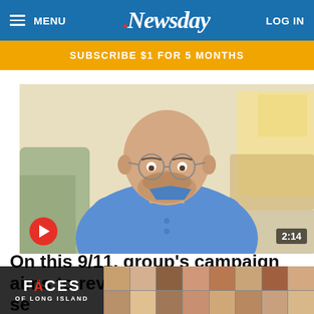MENU | Newsday | LOG IN
SUBSCRIBE $1 FOR 5 MONTHS
[Figure (photo): Man in blue shirt wearing glasses seated in home environment, with a video play button overlay and duration badge showing 2:14]
On this 9/11, group's campaign aims to revive the spirit of unity se... at...
[Figure (photo): Faces of Long Island logo overlay with grid of portrait thumbnails of diverse individuals]